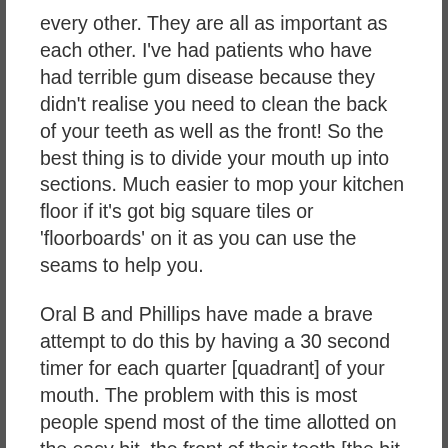every other. They are all as important as each other. I've had patients who have had terrible gum disease because they didn't realise you need to clean the back of your teeth as well as the front! So the best thing is to divide your mouth up into sections. Much easier to mop your kitchen floor if it's got big square tiles or 'floorboards' on it as you can use the seams to help you.
Oral B and Phillips have made a brave attempt to do this by having a 30 second timer for each quarter [quadrant] of your mouth. The problem with this is most people spend most of the time allotted on the easy bit, the front of their teeth [the bit you see in the mirror] and the back of their teeth get a bit of a 'lick and a promise'. The other problem is we don't turn our hands round at the midline, we actually turn our hands about by no 2 and no 3 on our dominant hand side, so the swap round section gets a bit left out, so we accumulate plaque here, we need to